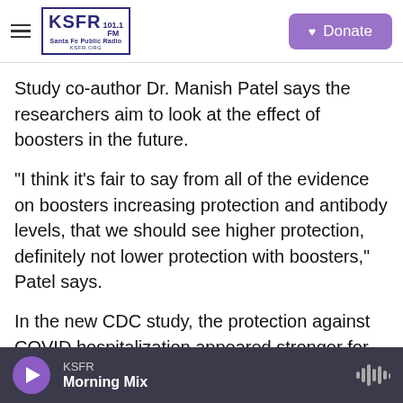KSFR 101.1 FM Santa Fe Public Radio | Donate
Study co-author Dr. Manish Patel says the researchers aim to look at the effect of boosters in the future.
"I think it's fair to say from all of the evidence on boosters increasing protection and antibody levels, that we should see higher protection, definitely not lower protection with boosters," Patel says.
In the new CDC study, the protection against COVID hospitalization appeared stronger for babies whose mothers got vaccinated after 21 weeks of pregnancy. That jibes with earlier research that has
KSFR | Morning Mix